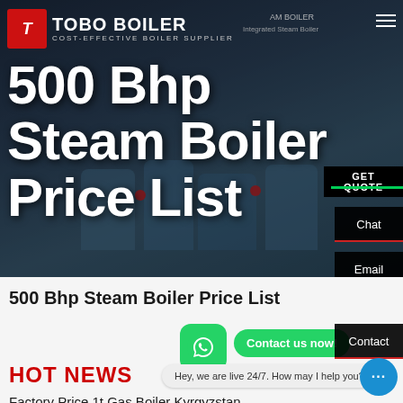[Figure (screenshot): TOBO BOILER website hero banner with industrial boilers in background, dark blue gradient overlay, large white title text '500 Bhp Steam Boiler Price List']
500 Bhp Steam Boiler Price List
HOT NEWS
Hey, we are live 24/7. How may I help you?
Factory Price 1t Gas Boiler Kyrgyzstan